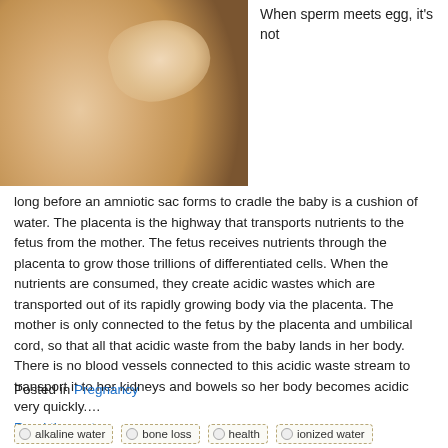[Figure (photo): Close-up photo of a pregnant woman's belly with hand and ring resting on it, dark background]
When sperm meets egg, it's not long before an amniotic sac forms to cradle the baby is a cushion of water. The placenta is the highway that transports nutrients to the fetus from the mother. The fetus receives nutrients through the placenta to grow those trillions of differentiated cells. When the nutrients are consumed, they create acidic wastes which are transported out of its rapidly growing body via the placenta. The mother is only connected to the fetus by the placenta and umbilical cord, so that all that acidic waste from the baby lands in her body. There is no blood vessels connected to this acidic waste stream to transport it to her kidneys and bowels so her body becomes acidic very quickly....
Read the rest
Posted in Pregnancy
alkaline water | bone loss | health | ionized water